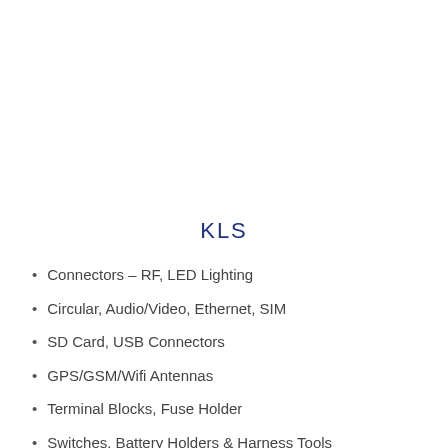KLS
Connectors – RF, LED Lighting
Circular, Audio/Video, Ethernet, SIM
SD Card, USB Connectors
GPS/GSM/Wifi Antennas
Terminal Blocks, Fuse Holder
Switches, Battery Holders & Harness Tools